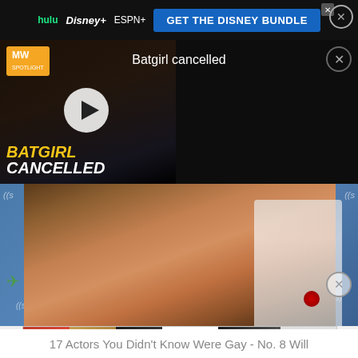[Figure (screenshot): Hulu Disney+ ESPN+ advertisement banner: GET THE DISNEY BUNDLE]
[Figure (screenshot): MW Spotlight video player showing Batgirl Cancelled with play button overlay and title 'Batgirl cancelled']
[Figure (photo): Two people kissing at a SiriusXM event, with SiriusXM logos in background]
[Figure (screenshot): Ulta Beauty advertisement banner with makeup images and SHOP NOW button]
17 Actors You Didn't Know Were Gay - No. 8 Will